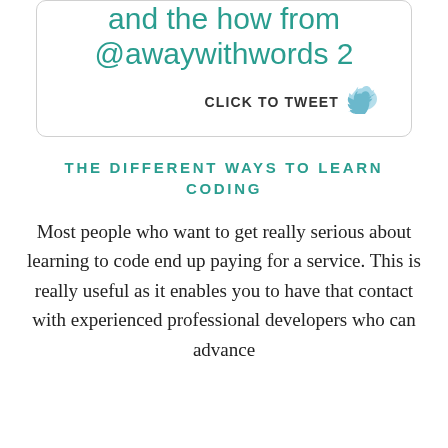and the how from @awaywithwords 2
CLICK TO TWEET
THE DIFFERENT WAYS TO LEARN CODING
Most people who want to get really serious about learning to code end up paying for a service. This is really useful as it enables you to have that contact with experienced professional developers who can advance